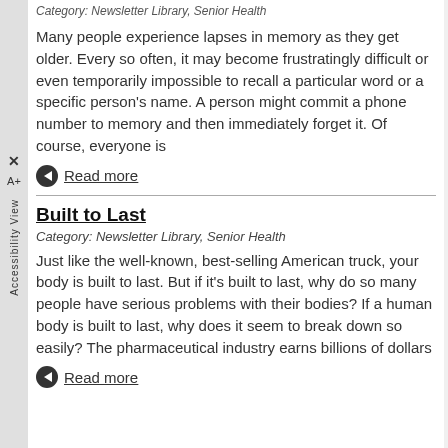Category: Newsletter Library, Senior Health
Many people experience lapses in memory as they get older. Every so often, it may become frustratingly difficult or even temporarily impossible to recall a particular word or a specific person's name. A person might commit a phone number to memory and then immediately forget it. Of course, everyone is
Read more
Built to Last
Category: Newsletter Library, Senior Health
Just like the well-known, best-selling American truck, your body is built to last. But if it's built to last, why do so many people have serious problems with their bodies? If a human body is built to last, why does it seem to break down so easily? The pharmaceutical industry earns billions of dollars
Read more